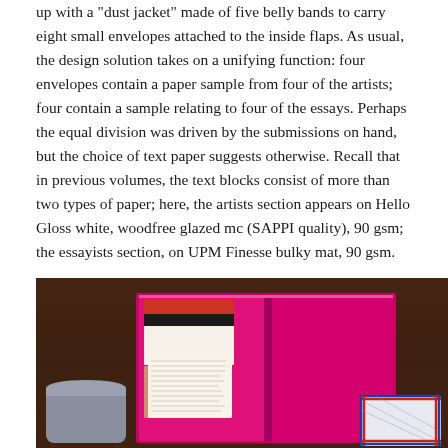up with a "dust jacket" made of five belly bands to carry eight small envelopes attached to the inside flaps. As usual, the design solution takes on a unifying function: four envelopes contain a paper sample from four of the artists; four contain a sample relating to four of the essays. Perhaps the equal division was driven by the submissions on hand, but the choice of text paper suggests otherwise. Recall that in previous volumes, the text blocks consist of more than two types of paper; here, the artists section appears on Hello Gloss white, woodfree glazed mc (SAPPI quality), 90 gsm; the essayists section, on UPM Finesse bulky mat, 90 gsm.
[Figure (photo): Photograph of an open book with bright magenta/pink pages displayed on a dark wooden surface, with small paper items including envelopes and printed materials arranged around it.]